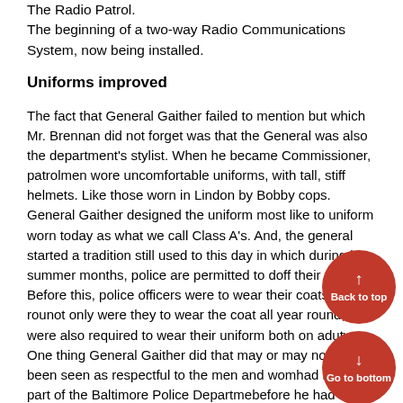The Radio Patrol.
The beginning of a two-way Radio Communications System, now being installed.
Uniforms improved
The fact that General Gaither failed to mention but which Mr. Brennan did not forget was that the General was also the department's stylist. When he became Commissioner, patrolmen wore uncomfortable uniforms, with tall, stiff helmets. Like those worn in Lindon by Bobby cops. General Gaither designed the uniform most like to uniform worn today as what we call Class A's. And, the general started a tradition still used to this day in which during hot summer months, police are permitted to doff their coats. Before this, police officers were to wear their coats all year round, not only were they to wear the coat all year round, but were also required to wear their uniform both on and off duty. One thing General Gaither did that may or may not have been seen as respectful to the men and women who had been a part of the Baltimore Police Department before he had arrived. To those before him, and all that had died and or would die, as well as those who had